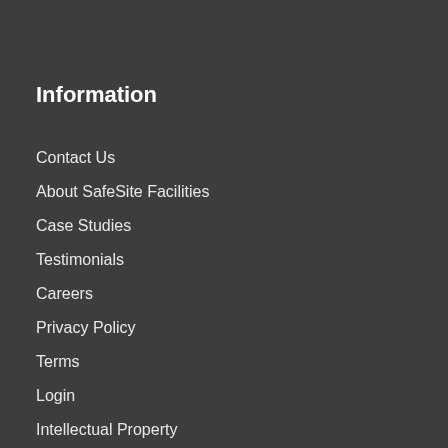Information
Contact Us
About SafeSite Facilities
Case Studies
Testimonials
Careers
Privacy Policy
Terms
Login
Intellectual Property
Contact us
SafeSite Facilities Ltd